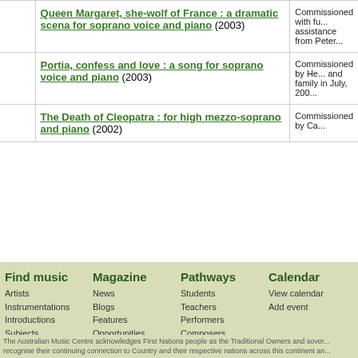|  | Title | Description |
| --- | --- | --- |
|  | Queen Margaret, she-wolf of France : a dramatic scena for soprano voice and piano (2003) | Commissioned with fu... assistance from Peter... |
|  | Portia, confess and love : a song for soprano voice and piano (2003) | Commissioned by He... and family in July, 200... |
|  | The Death of Cleopatra : for high mezzo-soprano and piano (2002) | Commissioned by Ca... |
Find music
Artists
Instrumentations
Introductions
Subjects
Magazine
News
Blogs
Features
Opportunities
About
Pathways
Students
Teachers
Performers
Composers
Improvisers
Sound artists
Calendar
View calendar
Add event
The Australian Music Centre acknowledges First Nations people as the Traditional Owners and sover... recognise their continuing connection to Country and their respective nations across this continent an...